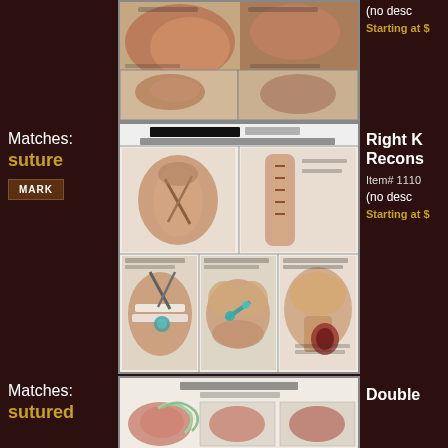[Figure (illustration): Medical illustration showing muscle/tissue procedure, partially cut off at top]
(no desc
Starting at $
Matches:
suture
MARK
[Figure (illustration): Right Knee ACL Reconstruction Surgery medical illustration dated 4/5/11, showing multiple panels of knee anatomy and surgical procedure]
Right K
Recons
Item# 1110
(no desc
Starting at $
Matches:
sutured
[Figure (illustration): Double Coronary Bypass Surgery medical illustration, partially visible at bottom]
Double